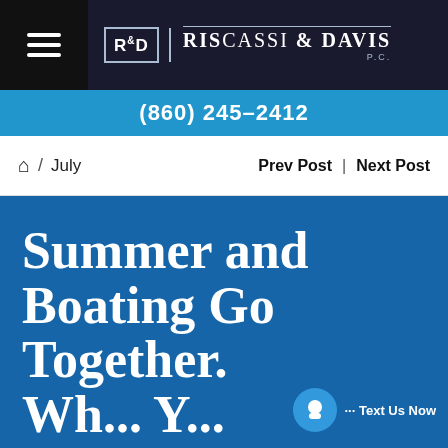[Figure (logo): RisCassi & Davis P.C. law firm logo with hamburger menu icon, R&D monogram in bordered box, and firm name in serif uppercase letters on dark navy background]
(860) 245-2412
⌂ / July   Prev Post | Next Post
Summer and Boating Go Together. Wh... Y...